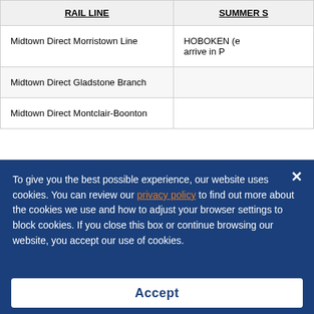| RAIL LINE | SUMMER S... |
| --- | --- |
| Midtown Direct Morristown Line | HOBOKEN (e... arrive in P... |
| Midtown Direct Gladstone Branch |  |
| Midtown Direct Montclair-Boonton |  |
To give you the best possible experience, our website uses cookies. You can review our privacy policy to find out more about the cookies we use and how to adjust your browser settings to block cookies. If you close this box or continue browsing our website, you accept our use of cookies.
Accept